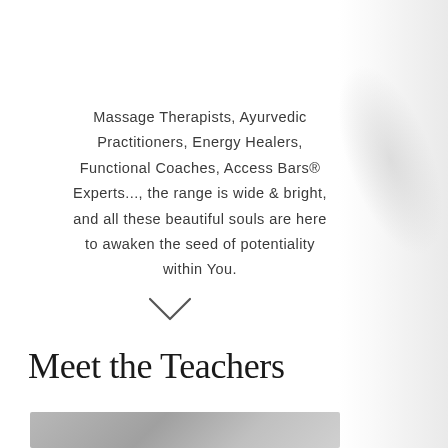Massage Therapists, Ayurvedic Practitioners, Energy Healers, Functional Coaches, Access Bars® Experts..., the range is wide & bright, and all these beautiful souls are here to awaken the seed of potentiality within You.
[Figure (illustration): Chevron / downward arrow icon indicating scroll down]
Meet the Teachers
[Figure (photo): Black and white close-up photograph of a person, partially visible at bottom of page]